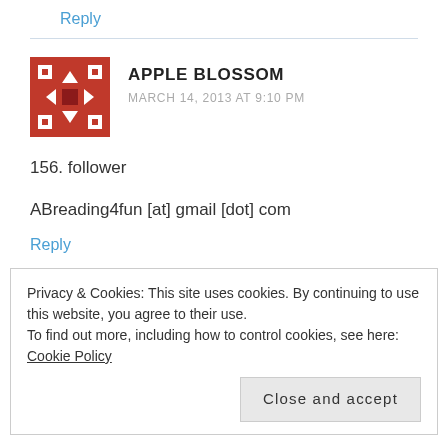Reply
[Figure (illustration): Red pixel-art avatar icon with arrows pointing in four directions on a dark red square background]
APPLE BLOSSOM
MARCH 14, 2013 AT 9:10 PM
156. follower
ABreading4fun [at] gmail [dot] com
Reply
Privacy & Cookies: This site uses cookies. By continuing to use this website, you agree to their use.
To find out more, including how to control cookies, see here: Cookie Policy
Close and accept